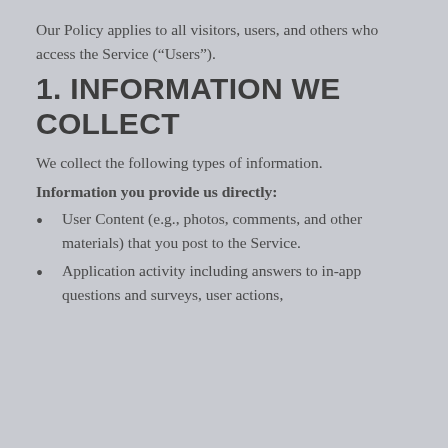Our Policy applies to all visitors, users, and others who access the Service (“Users”).
1. INFORMATION WE COLLECT
We collect the following types of information.
Information you provide us directly:
User Content (e.g., photos, comments, and other materials) that you post to the Service.
Application activity including answers to in-app questions and surveys, user actions,